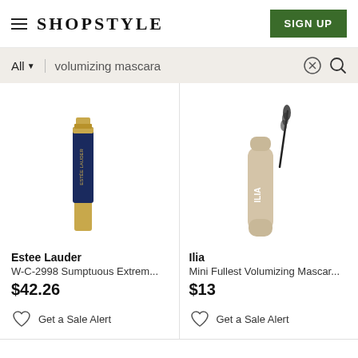SHOPSTYLE  SIGN UP
All  volumizing mascara
[Figure (photo): Estee Lauder W-C-2998 Sumptuous Extreme mascara in navy and gold packaging]
Estee Lauder
W-C-2998 Sumptuous Extrem...
$42.26
Get a Sale Alert
[Figure (photo): Ilia Mini Fullest Volumizing Mascara in beige/nude packaging with wand]
Ilia
Mini Fullest Volumizing Mascar...
$13
Get a Sale Alert